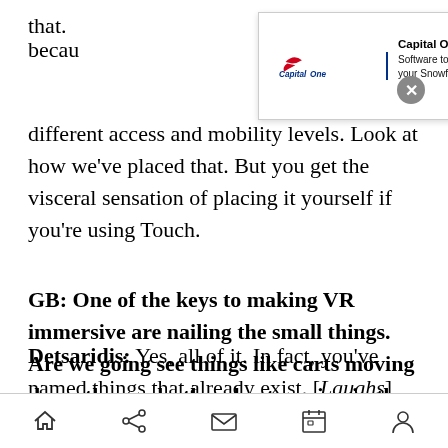that. ... because ... different access and mobility levels. Look at how we've placed that. But you get the visceral sensation of placing it yourself if you're using Touch.
[Figure (other): Capital One Software advertisement banner: Capital One Slingshot - Software to seamlessly manage your Snowflake cloud data costs. With close (X) button.]
GB: One of the keys to making VR immersive are nailing the small things. Are we going see things like carts moving down the roads, the wheat waving in the wind?
Detsaridis: Yes, all of it. In fact, you've named things that already exist. [Laughs]
Zatkin: Our sheep are right now turbo-sheep. They
Home Share Mail Calendar Profile